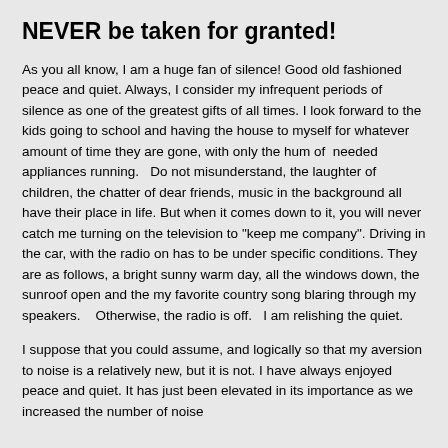NEVER be taken for granted!
As you all know, I am a huge fan of silence! Good old fashioned peace and quiet.  Always, I consider my infrequent periods of silence as one of the greatest gifts of all times.  I look forward to the kids going to school and having the house to myself for whatever amount of time they are gone, with only the hum of  needed appliances running.   Do not misunderstand, the laughter of children, the chatter of dear friends, music in the background all have their place in life.  But when it comes down to it, you will never catch me turning on the television to "keep me company".  Driving in the car, with the radio on has to be under specific conditions.  They are as follows, a bright sunny warm day, all the windows down, the sunroof open and the my favorite country song blaring through my speakers.    Otherwise, the radio is off.   I am relishing the quiet.
I suppose that you could assume, and logically so that my aversion to noise is a relatively new, but it is not.  I have always enjoyed peace and quiet.  It has just been elevated in its importance as we increased the number of noise